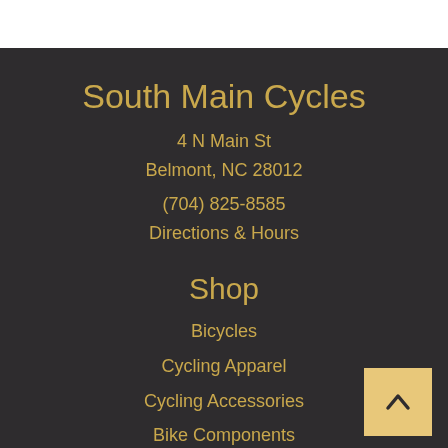South Main Cycles
4 N Main St
Belmont, NC 28012
(704) 825-8585
Directions & Hours
Shop
Bicycles
Cycling Apparel
Cycling Accessories
Bike Components